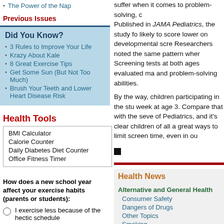The Power of the Nap
Previous Issues
Did You Know?
3 Rules to Improve Your Life
Krazy About Kale
8 Great Exercise Tips
Get Some Sun (But Not Too Much)
Brush Your Teeth and Lower Heart Disease Risk
Health Tools
BMI Calculator
Calorie Counter
Daily Diabetes Diet Counter
Office Fitness Timer
How does a new school year affect your exercise habits (parents or students):
I exercise less because of the hectic schedule
I exercise more because I tend to be more organized
suffer when it comes to problem-solving, c
Published in JAMA Pediatrics, the study fo likely to score lower on developmental scre Researchers noted the same pattern wher Screening tests at both ages evaluated ma and problem-solving abilities.
By the way, children participating in the stu week at age 3. Compare that with the seve of Pediatrics, and it's clear children of all a great ways to limit screen time, even in ou
Health News
Alternative and General Health
Consumer Safety
Dangers of Drugs
Other Topics
Smoking
Wellness
Musculoskeletal Health
Back pain
Extremities
Headaches